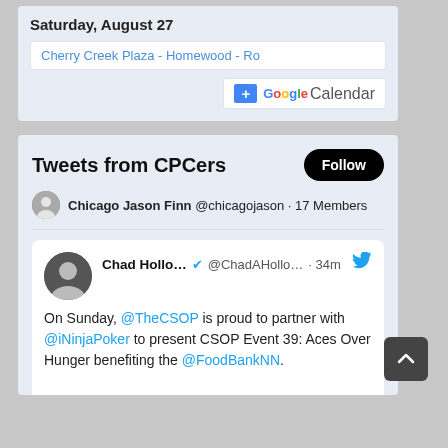Saturday, August 27
Cherry Creek Plaza - Homewood - Ro
[Figure (other): Add to Google Calendar button]
Tweets from CPCers
Chicago Jason Finn @chicagojason · 17 Members
Chad Hollo... @ChadAHollo... · 34m — On Sunday, @TheCSOP is proud to partner with @iNinjaPoker to present CSOP Event 39: Aces Over Hunger benefiting the @FoodBankNN. If you're in or near Reno join them on August 21st at @AtlantisReno. REGISTER, DONATE OR BID at charityseriesofpoker.org/fbnn39